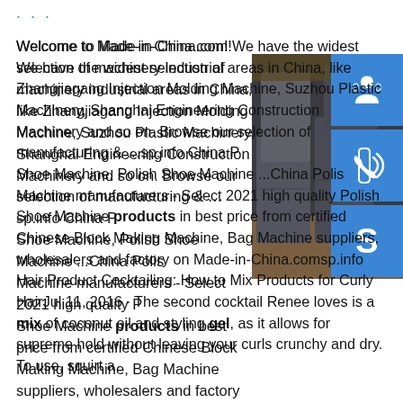...
Welcome to Made-in-China.com! We have the widest selection of machinery industrial areas in China, like Zhangjiagang Injection Molding Machine, Suzhou Plastic Machinery, Shanghai Engineering Construction Machinery and so on. Browse our selection of manufacturing & …sp.info China Polish Shoe Machine, Polish Shoe Machine ...China Polish Shoe Machine manufacturers - Select 2021 high quality Polish Shoe Machine products in best price from certified Chinese Block Making Machine, Bag Machine suppliers, wholesalers and factory on Made-in-China.comsp.info Hair Product Cocktailing: How to Mix Products for Curly HairJul 11, 2016 · The second cocktail Renee loves is a mix of coconut oil and styling gel, as it allows for supreme hold without leaving your curls crunchy and dry. To use, squirt a
[Figure (photo): Industrial metal pipes or cylinders lying on the ground outdoors]
[Figure (illustration): Blue icon with headset/customer support symbol]
[Figure (illustration): Blue icon with phone/call symbol]
[Figure (illustration): Blue icon with Skype logo symbol]